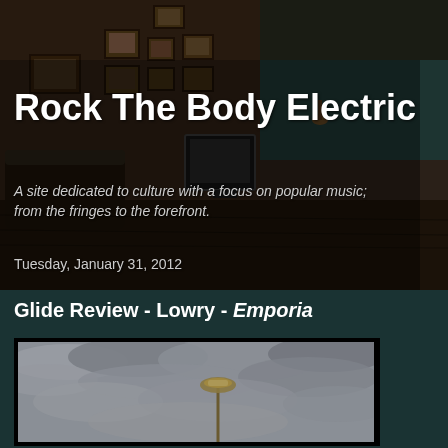[Figure (photo): Dark atmospheric background showing an interior room with framed pictures on wall, a couch, TV set, wooden floor, moody dark lighting. Blog header image.]
Rock The Body Electric
A site dedicated to culture with a focus on popular music; from the fringes to the forefront.
Tuesday, January 31, 2012
Glide Review - Lowry - Emporia
[Figure (photo): Black and white photo of a street lamp against a cloudy overcast sky, viewed from below. Album or article illustration.]